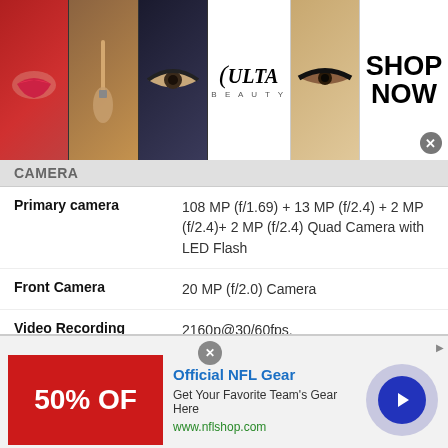[Figure (photo): Ulta Beauty advertisement banner with makeup photos (lips, brush, eye, Ulta logo, eyes) and SHOP NOW button]
CAMERA
| Feature | Value |
| --- | --- |
| Primary camera | 108 MP (f/1.69) + 13 MP (f/2.4) + 2 MP (f/2.4)+ 2 MP (f/2.4) Quad Camera with LED Flash |
| Front Camera | 20 MP (f/2.0) Camera |
| Video Recording | 2160p@30/60fps, 1080p@30/120/240fps, 720p@960fps |
| Camera Features | Geo Tagging, HDR, Panorama, Portrait, EIS,Laser Autofocus, OIS, 4K, 8K video recording |
MULTIMEDIA
[Figure (photo): Official NFL Gear advertisement banner with 50% OFF promo, blue arrow button, and nflshop.com URL]